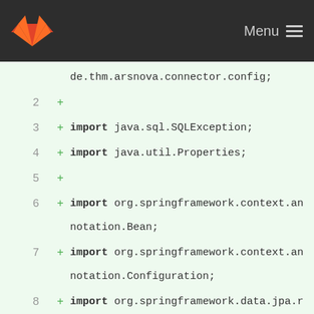GitLab — Menu
de.thm.arsnova.connector.config;
2  +
3  + import java.sql.SQLException;
4  + import java.util.Properties;
5  +
6  + import org.springframework.context.annotation.Bean;
7  + import org.springframework.context.annotation.Configuration;
8  + import org.springframework.data.jpa.repository.config.EnableJpaRepositories;
9  + import org.springframework.jdbc.datasource.DriverManagerDataSource;
10 + import org.springframework.orm.jpa.JpaTransactionManager;